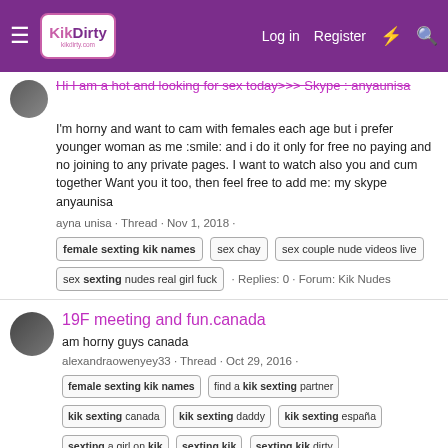KikDirty — Log in | Register
Hi I am a hot and looking for sex today>>> Skype : anyaunisa
I'm horny and want to cam with females each age but i prefer younger woman as me :smile: and i do it only for free no paying and no joining to any private pages. I want to watch also you and cum together Want you it too, then feel free to add me: my skype anyaunisa
ayna unisa · Thread · Nov 1, 2018 · female sexting kik names | sex chay | sex couple nude videos live | sex sexting nudes real girl fuck · Replies: 0 · Forum: Kik Nudes
19F meeting and fun.canada
am horny guys canada
alexandraowenyey33 · Thread · Oct 29, 2016 · female sexting kik names | find a kik sexting partner | kik sexting canada | kik sexting daddy | kik sexting españa | sexting a girl on kik | sexting kik | sexting kik dirty | sexting kik guys | sexting kiks for guys · Replies: 0 · Forum: Canada